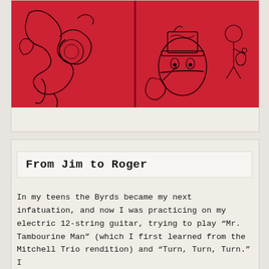[Figure (illustration): Red-background illustration showing decorative line-art figures on an open book spread — includes a serpentine or dragon-like creature on the left page and a stylized character wearing a top hat on the right page, with a small figure holding a drink at the far right.]
From Jim to Roger
In my teens the Byrds became my next infatuation, and now I was practicing on my electric 12-string guitar, trying to play “Mr. Tambourine Man” (which I first learned from the Mitchell Trio rendition) and “Turn, Turn, Turn.” I